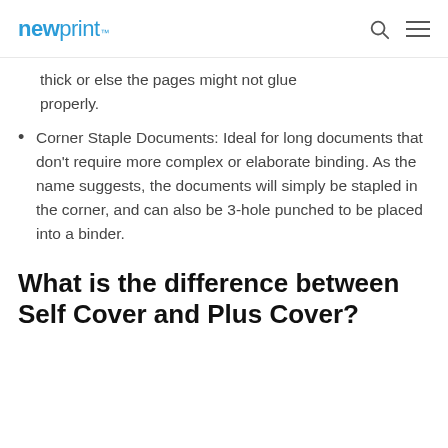newprint™
thick or else the pages might not glue properly.
Corner Staple Documents: Ideal for long documents that don't require more complex or elaborate binding. As the name suggests, the documents will simply be stapled in the corner, and can also be 3-hole punched to be placed into a binder.
What is the difference between Self Cover and Plus Cover?